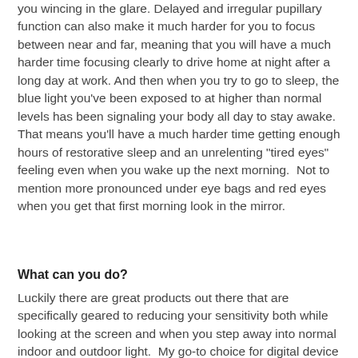you wincing in the glare. Delayed and irregular pupillary function can also make it much harder for you to focus between near and far, meaning that you will have a much harder time focusing clearly to drive home at night after a long day at work. And then when you try to go to sleep, the blue light you've been exposed to at higher than normal levels has been signaling your body all day to stay awake.  That means you'll have a much harder time getting enough hours of restorative sleep and an unrelenting "tired eyes" feeling even when you wake up the next morning.  Not to mention more pronounced under eye bags and red eyes when you get that first morning look in the mirror.
What can you do?
Luckily there are great products out there that are specifically geared to reducing your sensitivity both while looking at the screen and when you step away into normal indoor and outdoor light.  My go-to choice for digital device users with